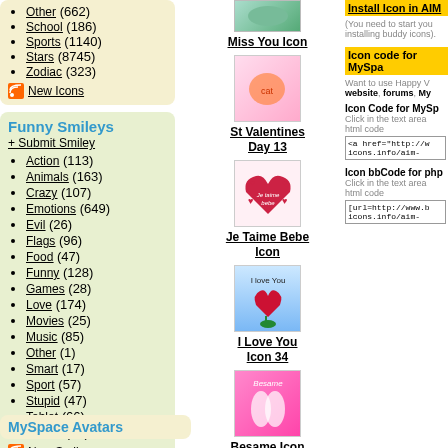Other (662)
School (186)
Sports (1140)
Stars (8745)
Zodiac (323)
New Icons
Funny Smileys
+ Submit Smiley
Action (113)
Animals (163)
Crazy (107)
Emotions (649)
Evil (26)
Flags (96)
Food (47)
Funny (128)
Games (28)
Love (174)
Movies (25)
Music (85)
Other (1)
Smart (17)
Sport (57)
Stupid (47)
Tablet (66)
Zodiac (36)
New Smileys
MySpace Avatars
[Figure (photo): Miss You Icon image]
Miss You Icon
[Figure (photo): St Valentines Day 13 icon - cartoon cat with heart]
St Valentines Day 13
[Figure (photo): Je Taime Bebe Icon - heart with text]
Je Taime Bebe Icon
[Figure (photo): I Love You Icon 34 - rose on blue background]
I Love You Icon 34
[Figure (photo): Besame Icon - pink background with silhouette]
Besame Icon
More St Valentines Day Buddy Icons...
Install Icon in AIM
(You need to start your installing buddy icons).
Icon code for MySpa
Want to use Happy V website, forums, My
Icon Code for MySp
Click in the text area html code
<a href="http://w icons.info/aim-
Icon bbCode for php
Click in the text area html code
[url=http://www.b icons.info/aim-
Random Icons